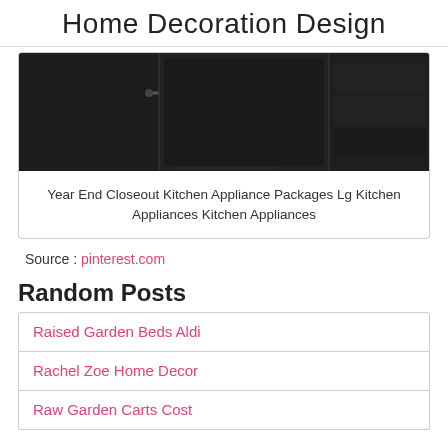Home Decoration Design
[Figure (photo): Dark kitchen appliances photograph showing refrigerator and other appliances in dark/black finish]
Year End Closeout Kitchen Appliance Packages Lg Kitchen Appliances Kitchen Appliances
Source : pinterest.com
Random Posts
Raised Garden Beds Aldi
Rachel Zoe Home Decor
Raw Garden Carts Cost